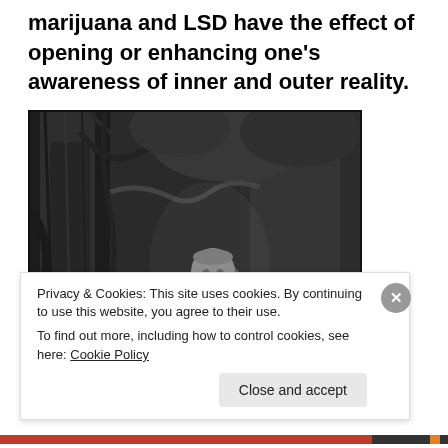marijuana and LSD have the effect of opening or enhancing one's awareness of inner and outer reality.
[Figure (illustration): Black and white vintage engraving illustration of a young girl (Alice in Wonderland style) standing in a forest, looking to the side, holding a book, surrounded by large gnarled trees.]
Privacy & Cookies: This site uses cookies. By continuing to use this website, you agree to their use.
To find out more, including how to control cookies, see here: Cookie Policy